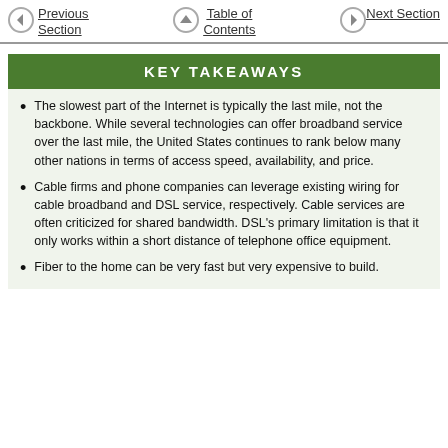Previous Section   Table of Contents   Next Section
KEY TAKEAWAYS
The slowest part of the Internet is typically the last mile, not the backbone. While several technologies can offer broadband service over the last mile, the United States continues to rank below many other nations in terms of access speed, availability, and price.
Cable firms and phone companies can leverage existing wiring for cable broadband and DSL service, respectively. Cable services are often criticized for shared bandwidth. DSL's primary limitation is that it only works within a short distance of telephone office equipment.
Fiber to the home can be very fast but very expensive to build.